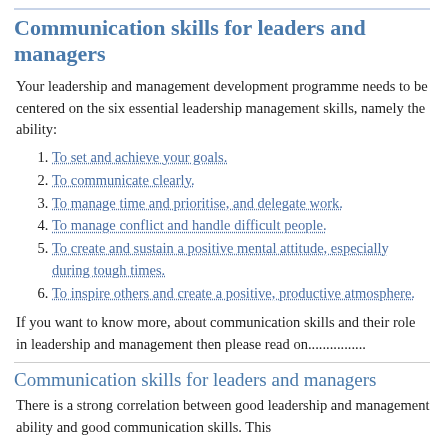Communication skills for leaders and managers
Your leadership and management development programme needs to be centered on the six essential leadership management skills, namely the ability:
1. To set and achieve your goals.
2. To communicate clearly.
3. To manage time and prioritise, and delegate work.
4. To manage conflict and handle difficult people.
5. To create and sustain a positive mental attitude, especially during tough times.
6. To inspire others and create a positive, productive atmosphere.
If you want to know more, about communication skills and their role in leadership and management then please read on................
Communication skills for leaders and managers
There is a strong correlation between good leadership and management ability and good communication skills. This